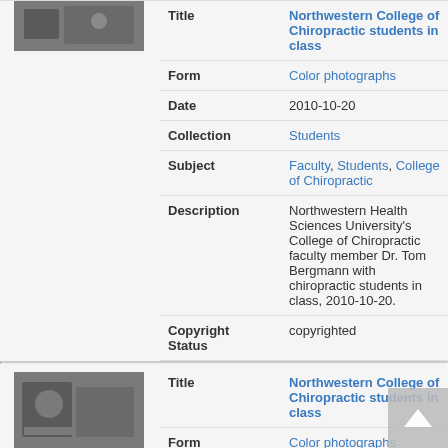[Figure (photo): Thumbnail photo of Northwestern College of Chiropractic students in class (first record, top, partially cropped)]
| Field | Value |
| --- | --- |
| Title | Northwestern College of Chiropractic students in class |
| Form | Color photographs |
| Date | 2010-10-20 |
| Collection | Students |
| Subject | Faculty, Students, College of Chiropractic |
| Description | Northwestern Health Sciences University's College of Chiropractic faculty member Dr. Tom Bergmann with chiropractic students in class, 2010-10-20. |
| Copyright Status | copyrighted |
[Figure (photo): Thumbnail photo of Northwestern College of Chiropractic students in class (second record)]
| Field | Value |
| --- | --- |
| Title | Northwestern College of Chiropractic students in class |
| Form | Color photographs |
| Date | 2010-05-19 |
| Collection | Students |